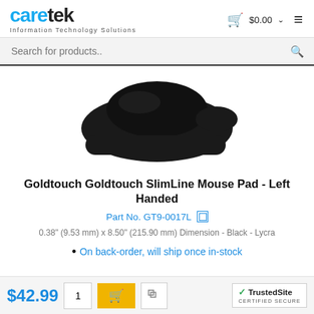caretek - Information Technology Solutions | Cart $0.00
Search for products..
[Figure (photo): Black Goldtouch SlimLine Mouse Pad - Left Handed, ergonomic shape, viewed from above on white background]
Goldtouch Goldtouch SlimLine Mouse Pad - Left Handed
Part No. GT9-0017L
0.38" (9.53 mm) x 8.50" (215.90 mm) Dimension - Black - Lycra
On back-order, will ship once in-stock
$42.99  1  [Add to Cart]  [Wishlist]  TrustedSite CERTIFIED SECURE